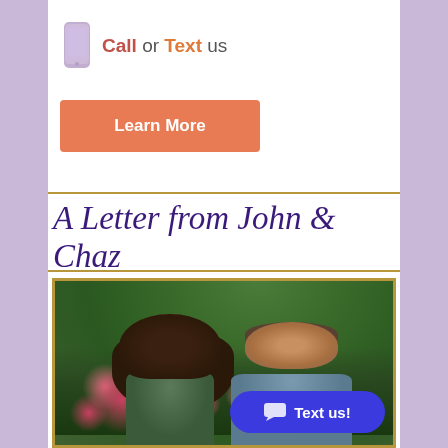Call or Text us
Learn More
A Letter from John & Chaz
[Figure (photo): Photo of a man and woman (John and Chaz) smiling outdoors in a garden with flowers and green foliage in the background, framed with a gold border]
Text us!